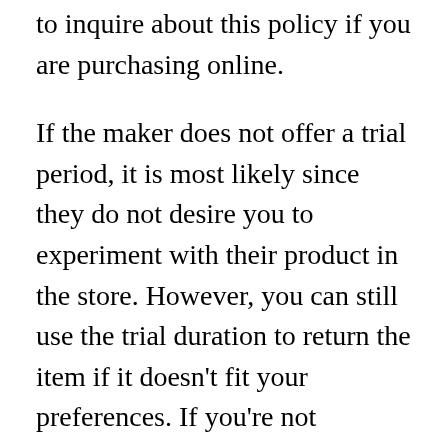to inquire about this policy if you are purchasing online.
If the maker does not offer a trial period, it is most likely since they do not desire you to experiment with their product in the store. However, you can still use the trial duration to return the item if it doesn’t fit your preferences. If you’re not delighted with your new bed mattress, make sure you get your cash back. Lots of companies use exchanges and refunds for returns. You should likewise have your order details handy if you choose to return it.